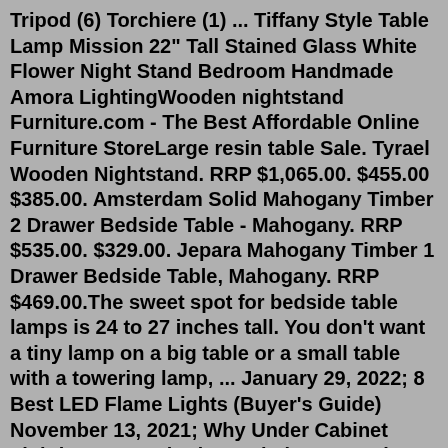Tripod (6) Torchiere (1) ... Tiffany Style Table Lamp Mission 22" Tall Stained Glass White Flower Night Stand Bedroom Handmade Amora LightingWooden nightstand Furniture.com - The Best Affordable Online Furniture StoreLarge resin table Sale. Tyrael Wooden Nightstand. RRP $1,065.00. $455.00 $385.00. Amsterdam Solid Mahogany Timber 2 Drawer Bedside Table - Mahogany. RRP $535.00. $329.00. Jepara Mahogany Timber 1 Drawer Bedside Table, Mahogany. RRP $469.00.The sweet spot for bedside table lamps is 24 to 27 inches tall. You don't want a tiny lamp on a big table or a small table with a towering lamp, ... January 29, 2022; 8 Best LED Flame Lights (Buyer's Guide) November 13, 2021; Why Under Cabinet Lighting Is Required For Kitchen? October 31, 2021; 8 Best Outdoor Security Lights for Home Safety ...3. Choose a shade with a diameter no more than 2 inches less than the base length. For example, on the fixture with a 16-inch base, the diameter (or width) of the shade should not be more than 14. If you willing to learn more...